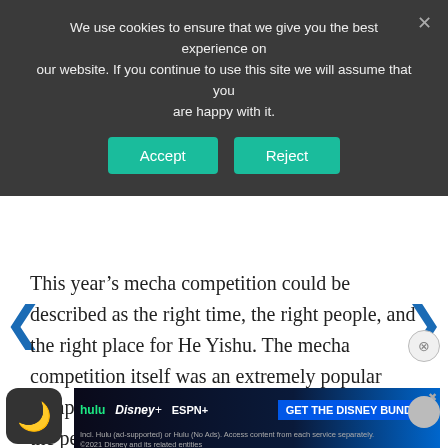We use cookies to ensure that we give you the best experience on our website. If you continue to use this site we will assume that you are happy with it.
This year’s mecha competition could be described as the right time, the right people, and the right place for He Yishu. The mecha competition itself was an extremely popular competition, and at the same ti…timate ch…drian, the perfect partner to accompany the occasion, so
[Figure (screenshot): Disney Bundle advertisement banner showing Hulu, Disney+, ESPN+ logos with 'GET THE DISNEY BUNDLE' call to action button]